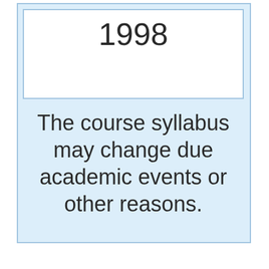1998
The course syllabus may change due academic events or other reasons.